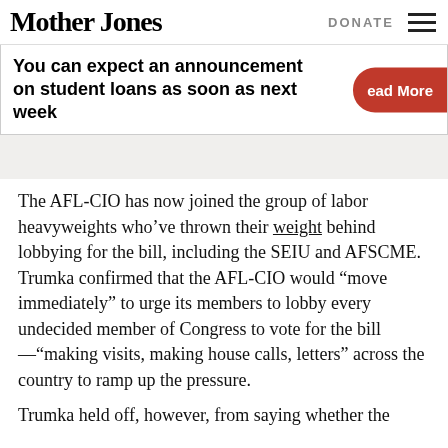Mother Jones | DONATE
You can expect an announcement on student loans as soon as next week
The AFL-CIO has now joined the group of labor heavyweights who’ve thrown their weight behind lobbying for the bill, including the SEIU and AFSCME. Trumka confirmed that the AFL-CIO would “move immediately” to urge its members to lobby every undecided member of Congress to vote for the bill—“making visits, making house calls, letters” across the country to ramp up the pressure.
Trumka held off, however, from saying whether the